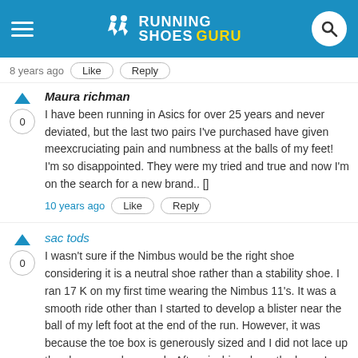Running Shoes Guru
8 years ago  Like  Reply
Maura richman
I have been running in Asics for over 25 years and never deviated, but the last two pairs I've purchased have given meexcruciating pain and numbness at the balls of my feet! I'm so disappointed. They were my tried and true and now I'm on the search for a new brand.. []
10 years ago  Like  Reply
sac tods
I wasn't sure if the Nimbus would be the right shoe considering it is a neutral shoe rather than a stability shoe. I ran 17 K on my first time wearing the Nimbus 11's. It was a smooth ride other than I started to develop a blister near the ball of my left foot at the end of the run. However, it was because the toe box is generously sized and I did not lace up the shoe snuggly enough. After cinching down the laces I have logged 82 K in the first two weeks of running including doing lots of speedwork and they feel amazing.